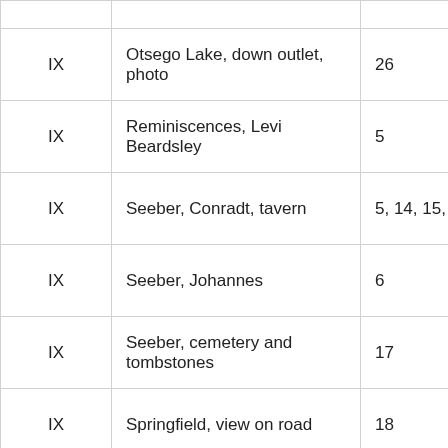| Volume | Description | Page |
| --- | --- | --- |
| IX | Otsego Lake, down outlet, photo | 26 |
| IX | Reminiscences, Levi Beardsley | 5 |
| IX | Seeber, Conradt, tavern | 5, 14, 15, 16 |
| IX | Seeber, Johannes | 6 |
| IX | Seeber, cemetery and tombstones | 17 |
| IX | Springfield, view on road | 18 |